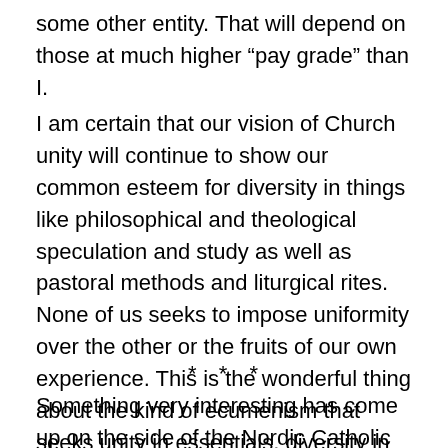some other entity. That will depend on those at much higher “pay grade” than I.
I am certain that our vision of Church unity will continue to show our common esteem for diversity in things like philosophical and theological speculation and study as well as pastoral methods and liturgical rites. None of us seeks to impose uniformity over the other or the fruits of our own experience. This is the wonderful thing about the kind of ecumenism that seeks unity in essentials, diversity in what is not set in stone and mutual love in all things (expression of St Augustine).
* * *
Something very interesting has come up on the side of the Nordic Catholic Church, the European member Church of the Union of Cortes and the PNCC in America...